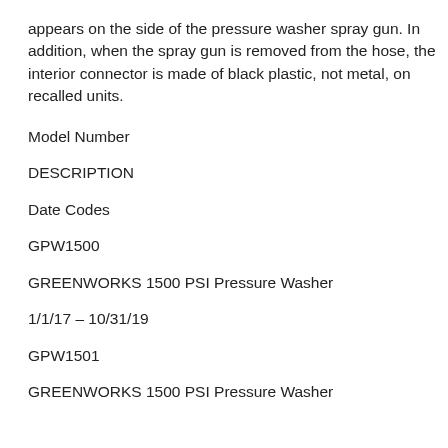appears on the side of the pressure washer spray gun. In addition, when the spray gun is removed from the hose, the interior connector is made of black plastic, not metal, on recalled units.
Model Number
DESCRIPTION
Date Codes
GPW1500
GREENWORKS 1500 PSI Pressure Washer
1/1/17 – 10/31/19
GPW1501
GREENWORKS 1500 PSI Pressure Washer